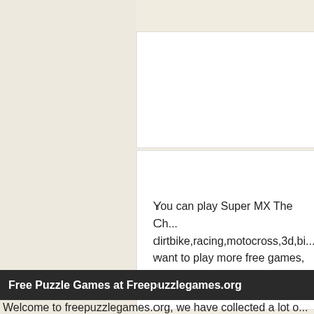Super MX The Champion Video
About Super MX The Champion
You can play Super MX The Ch... dirtbike,racing,motocross,3d,bi... want to play more free games, play other games, check out th...
Free Puzzle Games at Freepuzzlegames.org
Welcome to freepuzzlegames.org, we have collected a lot o...